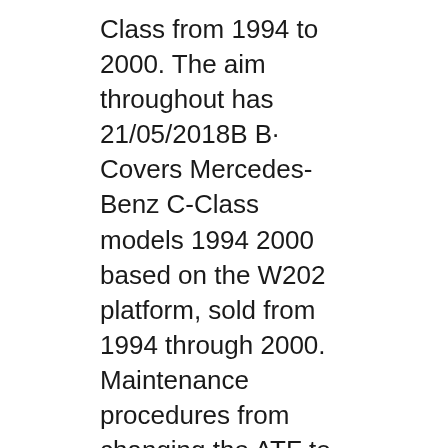Class from 1994 to 2000. The aim throughout has 21/05/2018B B· Covers Mercedes-Benz C-Class models 1994 2000 based on the W202 platform, sold from 1994 through 2000. Maintenance procedures from changing the ATF to replacing the cabin air filter. This manual tells you what to do and how and when to do it. Step-by-step cylinder head cover and cylinder head removal and installation.
This Bentley Manual contains in-depth maintenance, service and repair information for the Mercedes-Benz C-Class from 1994 to 2000. The aim throughout has 21/05/2018B B· Covers Mercedes-Benz C-Class models 1994